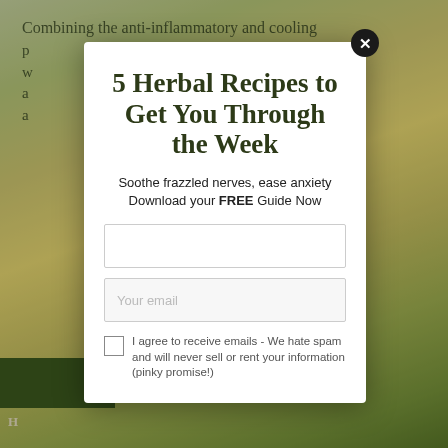Combining the anti-inflammatory and cooling p... w... a... a...
[Figure (screenshot): Background nature/herb photo with blurred green and yellow tones, partially visible behind a modal overlay]
5 Herbal Recipes to Get You Through the Week
Soothe frazzled nerves, ease anxiety Download your FREE Guide Now
I agree to receive emails - We hate spam and will never sell or rent your information (pinky promise!)